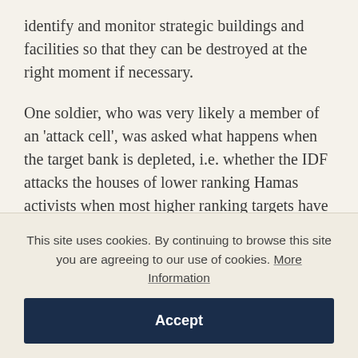identify and monitor strategic buildings and facilities so that they can be destroyed at the right moment if necessary.
One soldier, who was very likely a member of an 'attack cell', was asked what happens when the target bank is depleted, i.e. whether the IDF attacks the houses of lower ranking Hamas activists when most higher ranking targets have already been eliminated. The soldier replied:
Ab…b…f… t th f lti ith
This site uses cookies. By continuing to browse this site you are agreeing to our use of cookies. More Information
Accept